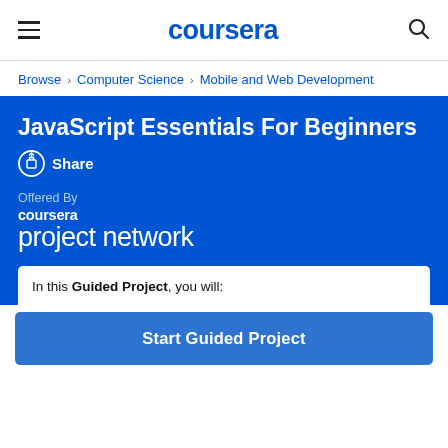coursera
Browse > Computer Science > Mobile and Web Development
JavaScript Essentials For Beginners
Share
Offered By
coursera project network
In this Guided Project, you will:
Start Guided Project